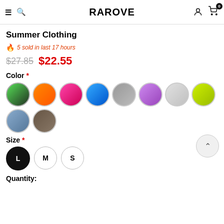RAROVE
Summer Clothing
5 sold in last 17 hours
$27.85  $22.55
Color *
[Figure (illustration): 10 circular color swatch thumbnails showing different clothing color options]
Size *
L  M  S size selector buttons, L selected
Quantity: